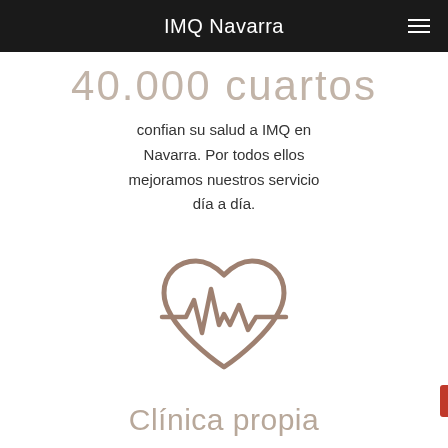IMQ Navarra
40.000 cuartos
confian su salud a IMQ en Navarra. Por todos ellos mejoramos nuestros servicio día a día.
[Figure (illustration): Heart with ECG pulse line icon in brownish-taupe color outline style]
Clínica propia
Nuestra preocupación por ofrecer una asistencia